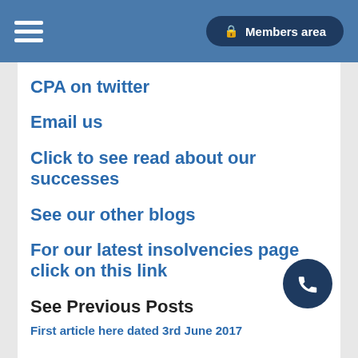Members area
CPA on twitter
Email us
Click to see read about our successes
See our other blogs
For our latest insolvencies page click on this link
See Previous Posts
First article here dated 3rd June 2017